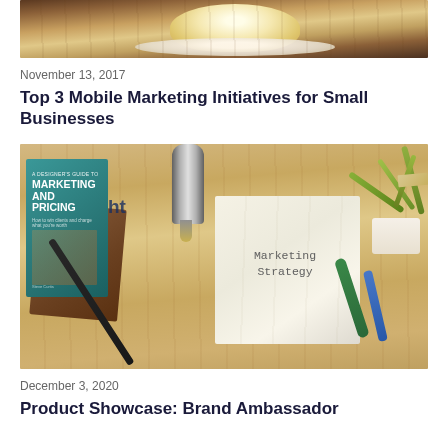[Figure (photo): Partial top image showing a coffee cup on a wooden table background, cropped at top of page]
November 13, 2017
Top 3 Mobile Marketing Initiatives for Small Businesses
[Figure (photo): Marketing strategy photo: books on marketing and pricing, a metallic pen/stylus, a cloth note reading 'Marketing Strategy', a plant, green and blue pens on a wooden desk]
December 3, 2020
Product Showcase: Brand Ambassador